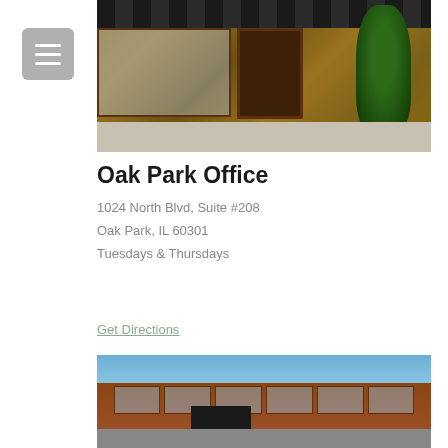[Figure (photo): Exterior photo of a brick storefront with dark awning, large windows, potted plants, and an evergreen tree]
Oak Park Office
1024 North Blvd, Suite #208
Oak Park, IL 60301
Tuesdays & Thursdays
Get Directions
[Figure (photo): Exterior photo of a long red brick industrial/warehouse building with multiple windows, a large garage door, and cars parked in front]